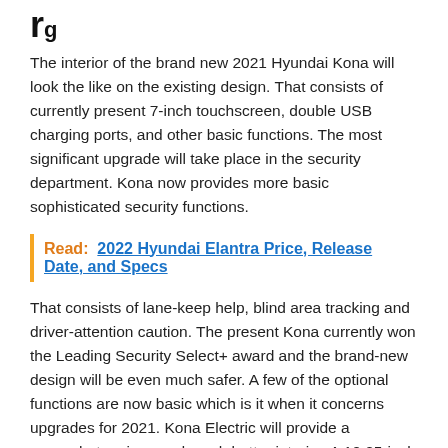Rate and Release Date Of The 2021 Hyundai Kona (partial heading visible at top)
The interior of the brand new 2021 Hyundai Kona will look the like on the existing design. That consists of currently present 7-inch touchscreen, double USB charging ports, and other basic functions. The most significant upgrade will take place in the security department. Kona now provides more basic sophisticated security functions.
Read:  2022 Hyundai Elantra Price, Release Date, and Specs
That consists of lane-keep help, blind area tracking and driver-attention caution. The present Kona currently won the Leading Security Select+ award and the brand-new design will be even much safer. A few of the optional functions are now basic which is it when it concerns upgrades for 2021. Kona Electric will provide a somewhat various and much better interior. A 10.25-inch screen is offered and the center stack is broader.
Rate and Release Date Of The 2021 Hyundai Kona
The base Kona design will begin at around $26,000. The 2021 Hyundai